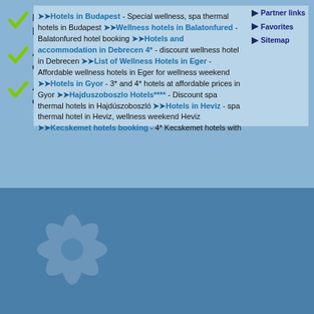Magyarországi szállodák akciós csomagajánlatai egy helyen.
A legjobb magyarországi wellness szállodák akciós csomagajánlatai a legjobb árakon.
A mobilalkalmazás letöltésével gyorsan és egyszerűen foglalhat.
Hotels in Budapest - Special wellness, spa thermal hotels in Budapest Wellness hotels in Balatonfured - Balatonfured hotel booking Hotels and accommodation in Debrecen 4* - discount wellness hotel in Debrecen List of Wellness Hotels in Eger - Affordable wellness hotels in Eger for wellness weekend Hotels in Gyor - 3* and 4* hotels at affordable prices in Gyor Hajduszoboszlo Hotels**** - Discount spa thermal hotels in Hajdúszoboszló Hotels in Heviz - spa thermal hotel in Heviz, wellness weekend Heviz Kecskemet hotels booking - 4* Kecskemet hotels with
Partner links
Favorites
Sitemap